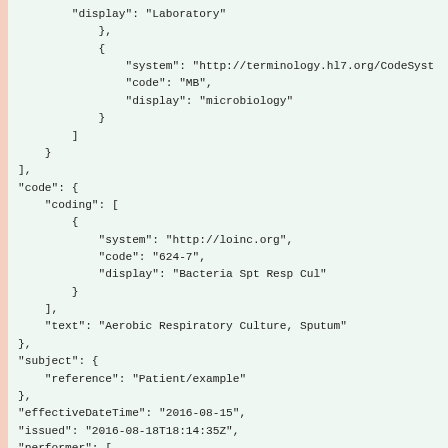JSON code fragment showing FHIR diagnostic report structure including display: Laboratory, system/code/display for microbiology, code with coding array containing system http://loinc.org, code 624-7, display Bacteria Spt Resp Cul, text Aerobic Respiratory Culture Sputum, subject reference Patient/example, effectiveDateTime 2016-08-15, issued 2016-08-18T18:14:35Z, performer array with reference Organization/example